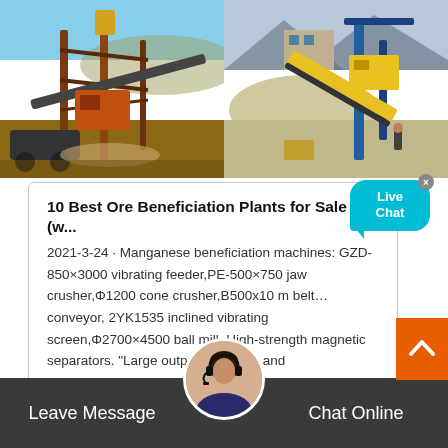[Figure (photo): Two industrial mining/crushing plant photographs side by side. Left: rusty orange heavy equipment/crusher structure with blue sky background. Right: yellow and blue conveyor/screening equipment at a quarry with mountains in background.]
10 Best Ore Beneficiation Plants for Sale (w...
2021-3-24 · Manganese beneficiation machines: GZD-850×3000 vibrating feeder,PE-500×750 jaw crusher,Φ1200 cone crusher,B500x10 m belt… conveyor, 2YK1535 inclined vibrating screen,Φ2700×4500 ball mill, High-strength magnetic separators. "Large output, low cost, and
Leave Message
Chat Online